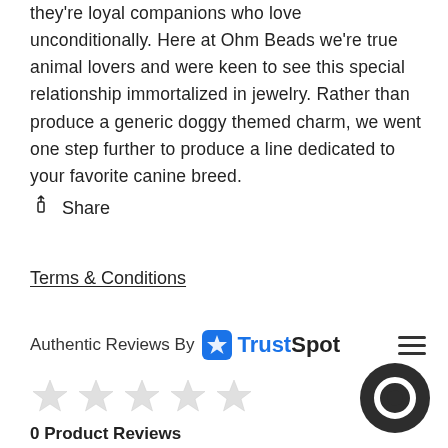they're loyal companions who love unconditionally. Here at Ohm Beads we're true animal lovers and were keen to see this special relationship immortalized in jewelry. Rather than produce a generic doggy themed charm, we went one step further to produce a line dedicated to your favorite canine breed.
Share
Terms & Conditions
Authentic Reviews By TrustSpot
[Figure (other): Five empty star rating icons in a row]
0 Product Reviews